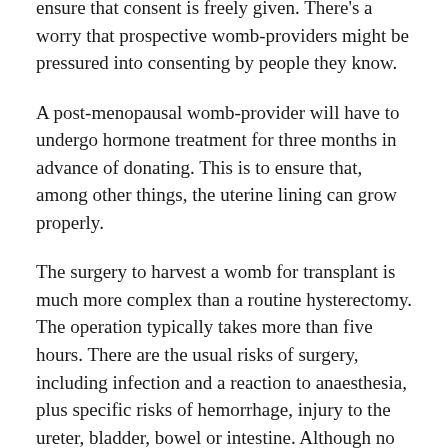ensure that consent is freely given. There's a worry that prospective womb-providers might be pressured into consenting by people they know.
A post-menopausal womb-provider will have to undergo hormone treatment for three months in advance of donating. This is to ensure that, among other things, the uterine lining can grow properly.
The surgery to harvest a womb for transplant is much more complex than a routine hysterectomy. The operation typically takes more than five hours. There are the usual risks of surgery, including infection and a reaction to anaesthesia, plus specific risks of hemorrhage, injury to the ureter, bladder, bowel or intestine. Although no donor has died so far, there have been serious complications that have required